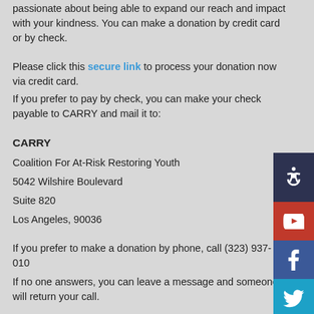passionate about being able to expand our reach and impact with your kindness. You can make a donation by credit card or by check.
Please click this secure link to process your donation now via credit card.
If you prefer to pay by check, you can make your check payable to CARRY and mail it to:
CARRY
Coalition For At-Risk Restoring Youth
5042 Wilshire Boulevard
Suite 820
Los Angeles, 90036
If you prefer to make a donation by phone, call (323) 937-010
If no one answers, you can leave a message and someone will return your call.